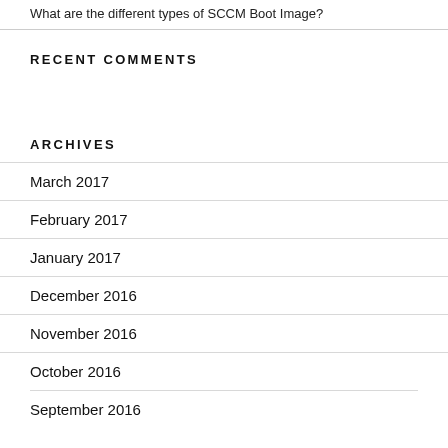What are the different types of SCCM Boot Image?
RECENT COMMENTS
ARCHIVES
March 2017
February 2017
January 2017
December 2016
November 2016
October 2016
September 2016